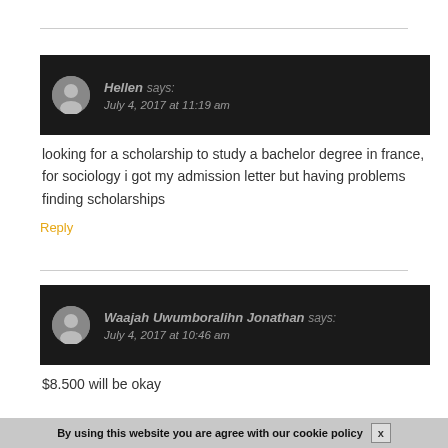Hellen says: July 4, 2017 at 11:19 am
looking for a scholarship to study a bachelor degree in france, for sociology i got my admission letter but having problems finding scholarships
Reply
Waajah Uwumboralihn Jonathan says: July 4, 2017 at 10:46 am
$8.500 will be okay
Reply
By using this website you are agree with our cookie policy  x